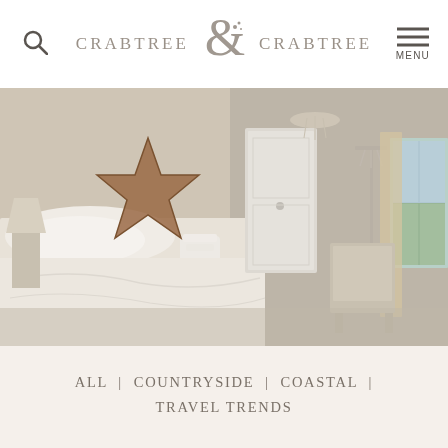CRABTREE & CRABTREE  MENU
[Figure (photo): Interior photo of a bright coastal bedroom with white bedding, cream curtains, a wicker star decoration on the wall, and a window with a view of greenery and sky.]
ALL | COUNTRYSIDE | COASTAL | TRAVEL TRENDS
01.07.20 | Team Crabtree